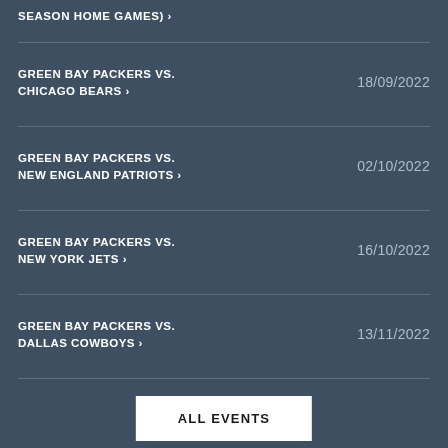SEASON HOME GAMES) ›
GREEN BAY PACKERS VS. CHICAGO BEARS › 18/09/2022
GREEN BAY PACKERS VS. NEW ENGLAND PATRIOTS › 02/10/2022
GREEN BAY PACKERS VS. NEW YORK JETS › 16/10/2022
GREEN BAY PACKERS VS. DALLAS COWBOYS › 13/11/2022
ALL EVENTS